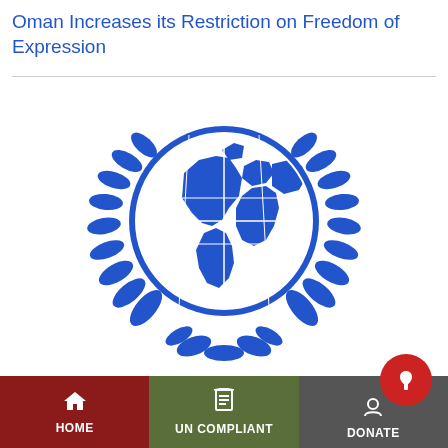Oman Increases its Restriction on Freedom of Expression
[Figure (logo): United Nations emblem — blue globe with world map centered on the Americas, surrounded by olive branches, on white background]
Are you a victim of a human rights abuse in Bah
HOME | UN COMPLIANT | DONATE